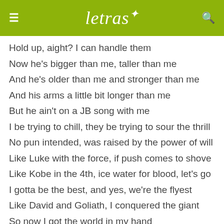letras
Hold up, aight? I can handle them
Now he's bigger than me, taller than me
And he's older than me and stronger than me
And his arms a little bit longer than me
But he ain't on a JB song with me
I be trying to chill, they be trying to sour the thrill
No pun intended, was raised by the power of will
Like Luke with the force, if push comes to shove
Like Kobe in the 4th, ice water for blood, let's go
I gotta be the best, and yes, we're the flyest
Like David and Goliath, I conquered the giant
So now I got the world in my hand
I was born from two stars, so the Moon's where I land, I'm gone